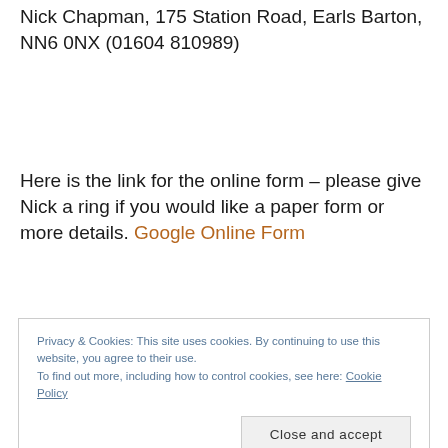Nick Chapman, 175 Station Road, Earls Barton, NN6 0NX (01604 810989)
Here is the link for the online form – please give Nick a ring if you would like a paper form or more details. Google Online Form
Privacy & Cookies: This site uses cookies. By continuing to use this website, you agree to their use.
To find out more, including how to control cookies, see here: Cookie Policy
Close and accept